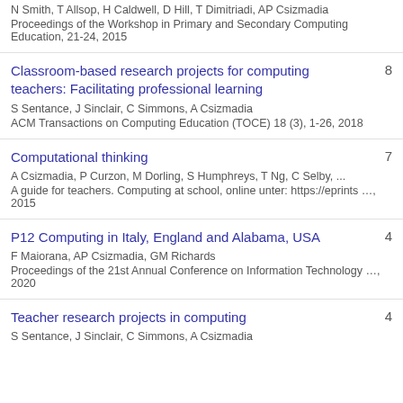N Smith, T Allsop, H Caldwell, D Hill, T Dimitriadi, AP Csizmadia
Proceedings of the Workshop in Primary and Secondary Computing Education, 21-24, 2015
Classroom-based research projects for computing teachers: Facilitating professional learning
S Sentance, J Sinclair, C Simmons, A Csizmadia
ACM Transactions on Computing Education (TOCE) 18 (3), 1-26, 2018
8
Computational thinking
A Csizmadia, P Curzon, M Dorling, S Humphreys, T Ng, C Selby, ...
A guide for teachers. Computing at school, online unter: https://eprints …, 2015
7
P12 Computing in Italy, England and Alabama, USA
F Maiorana, AP Csizmadia, GM Richards
Proceedings of the 21st Annual Conference on Information Technology …, 2020
4
Teacher research projects in computing
S Sentance, J Sinclair, C Simmons, A Csizmadia
4